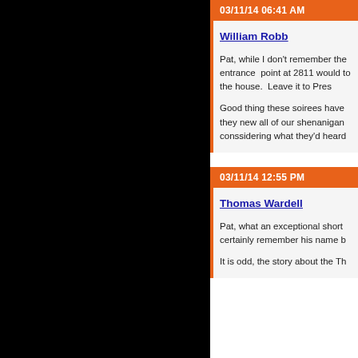03/11/14 06:41 AM
William Robb
Pat, while I don't remember the entrance point at 2811 would to the house. Leave it to Pres...
Good thing these soirees have they new all of our shenanigans conssidering what they'd heard...
03/11/14 12:55 PM
Thomas Wardell
Pat, what an exceptional short certainly remember his name b...
It is odd, the story about the Th...